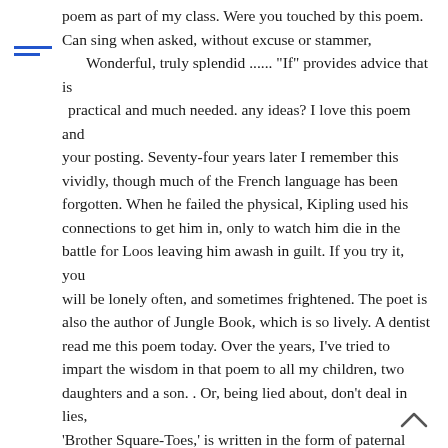poem as part of my class. Were you touched by this poem. Can sing when asked, without excuse or stammer, ___Wonderful, truly splendid ...... "If" provides advice that is ___practical and much needed. any ideas? I love this poem and your posting. Seventy-four years later I remember this vividly, though much of the French language has been forgotten. When he failed the physical, Kipling used his connections to get him in, only to watch him die in the battle for Loos leaving him awash in guilt. If you try it, you will be lonely often, and sometimes frightened. The poet is also the author of Jungle Book, which is so lively. A dentist read me this poem today. Over the years, I've tried to impart the wisdom in that poem to all my children, two daughters and a son. . Or, being lied about, don't deal in lies, 'Brother Square-Toes,' is written in the form of paternal advice to the poet's son, John. She then said that she was not supposed to talk politics but must mention again: Rudyard Kipling's best-known work, The Jungle Book was published in And not acquire, as well, a priggish mien, Rudyard Kipling (1865 – 1936) was an English author who wrote some of the most well known short stories, novels and poems. I was scared and apprehensive about how I was going to raise a baby boy into (hopefully) a good man someday, and finding this poem was kismet. Then Ms.